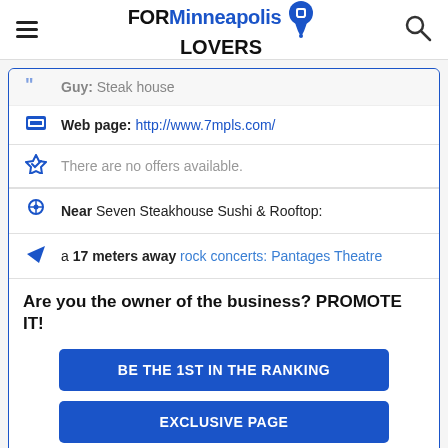FORMinneapolis LOVERS
Guy: Steak house
Web page: http://www.7mpls.com/
There are no offers available.
Near Seven Steakhouse Sushi & Rooftop:
a 17 meters away rock concerts: Pantages Theatre
Are you the owner of the business? PROMOTE IT!
BE THE 1ST IN THE RANKING
EXCLUSIVE PAGE